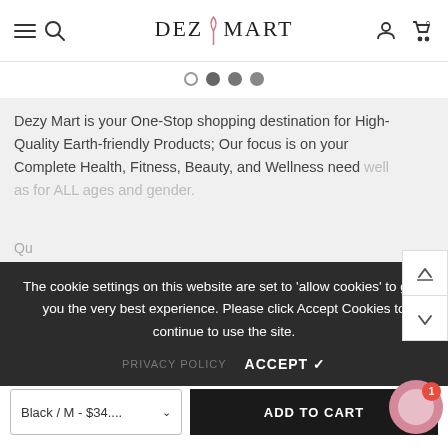DEZY MART
[Figure (screenshot): Carousel dot indicators: one open circle and three filled gray dots]
Dezy Mart is your One-Stop shopping destination for High-Quality Earth-friendly Products; Our focus is on your Complete Health, Fitness, Beauty, and Wellness need well as for ALL ages and gender.
The cookie settings on this website are set to 'allow cookies' to give you the very best experience. Please click Accept Cookies to continue to use the site.
PRIVACY POLICY    ACCEPT ✓
Information
Black / M - $34....
ADD TO CART